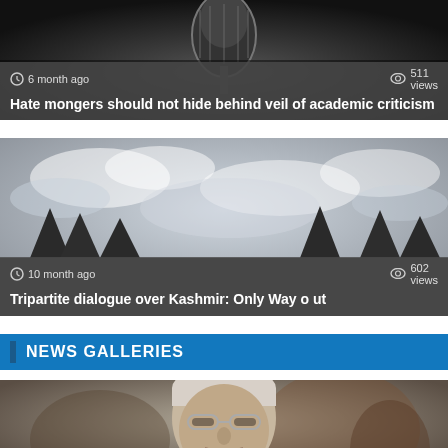[Figure (photo): Microphone close-up, dark background. 6 month ago, 511 views. Title: Hate mongers should not hide behind veil of academic criticism]
[Figure (photo): Outdoor scene with overcast sky. 10 month ago, 602 views. Title: Tripartite dialogue over Kashmir: Only Way out]
NEWS GALLERIES
[Figure (photo): Close-up portrait of an older Asian man wearing glasses and a dark suit]